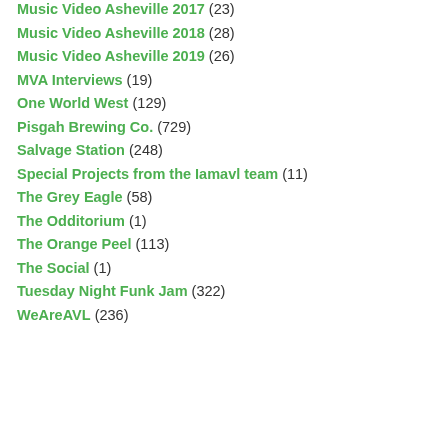Music Video Asheville 2017 (23)
Music Video Asheville 2018 (28)
Music Video Asheville 2019 (26)
MVA Interviews (19)
One World West (129)
Pisgah Brewing Co. (729)
Salvage Station (248)
Special Projects from the Iamavl team (11)
The Grey Eagle (58)
The Odditorium (1)
The Orange Peel (113)
The Social (1)
Tuesday Night Funk Jam (322)
WeAreAVL (236)